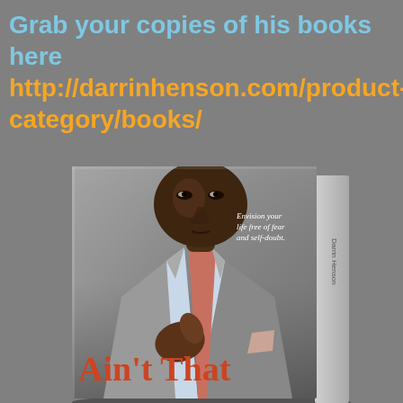Grab your copies of his books here http://darrinhenson.com/product-category/books/
[Figure (photo): A 3D rendered book cover showing a man in a grey suit adjusting his tie, with text 'Envision your life free of fear and self-doubt.' and book title 'Ain't That...' at the bottom in red/orange text. The book is shown at an angle with a visible spine.]